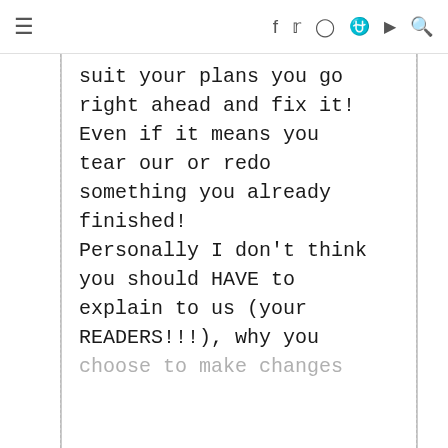≡  f  t  Instagram  Pinterest  YouTube  Search
suit your plans you go right ahead and fix it! Even if it means you tear our or redo something you already finished! Personally I don't think you should HAVE to explain to us (your READERS!!!), why you choose to make changes